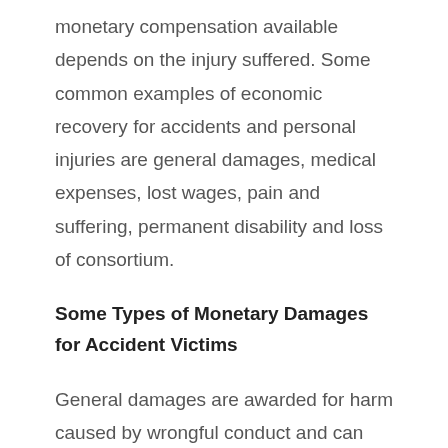monetary compensation available depends on the injury suffered. Some common examples of economic recovery for accidents and personal injuries are general damages, medical expenses, lost wages, pain and suffering, permanent disability and loss of consortium.
Some Types of Monetary Damages for Accident Victims
General damages are awarded for harm caused by wrongful conduct and can include compensation for physical and mental pain. Fees and bills associated with medical services like doctor visits, hospital